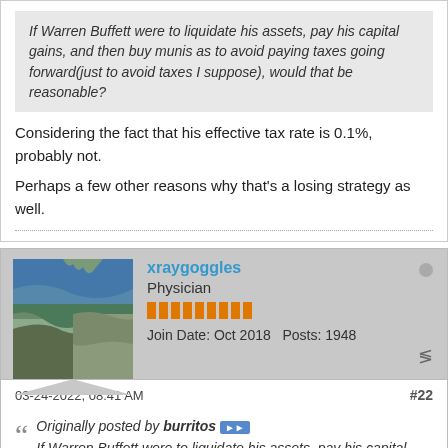If Warren Buffett were to liquidate his assets, pay his capital gains, and then buy munis as to avoid paying taxes going forward(just to avoid taxes I suppose), would that be reasonable?
Considering the fact that his effective tax rate is 0.1%, probably not.
Perhaps a few other reasons why that's a losing strategy as well.
xraygoggles
Physician
Join Date: Oct 2018  Posts: 1948
03-24-2022, 08:41 AM
#22
Originally posted by burritos
If Warren Buffett were to liquidate his assets, pay his capital gains, and then buy munis as to avoid paying taxes going forward(just to avoid taxes I suppose),